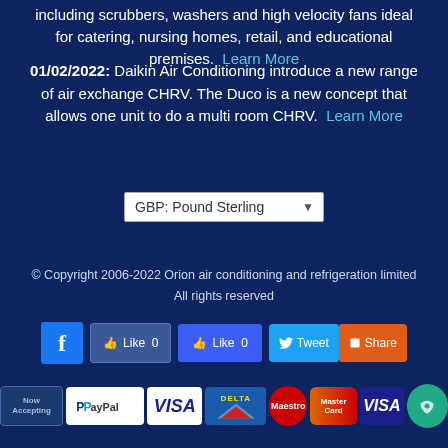including scrubbers, washers and high velocity fans ideal for catering, nursing homes, retail, and educational premises. Learn More
01/02/2022: Daikin Air Conditioning introduce a new range of air exchange CHRV. The Duco is a new concept that allows one unit to do a multi room CHRV. Learn More
[Figure (screenshot): Currency selector dropdown showing 'GBP: Pound Sterling']
© Copyright 2006-2022 Orion air conditioning and refrigeration limited All rights reserved
[Figure (infographic): Social media buttons: Facebook icon, Like 0 button, Like 0 button, Tweet button, Share button]
[Figure (infographic): Payment method logos: Now Accepting, PayPal, VISA, DELTA, Maestro, MasterCard, VISA, chat bubble]